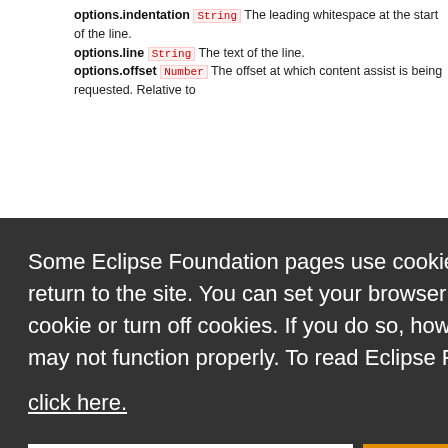options.indentation String The leading whitespace at the start of the line. options.line String The text of the line. options.offset Number The offset at which content assist is being requested. Relative to the...
Some Eclipse Foundation pages use cookies to better serve you when you return to the site. You can set your browser to notify you before you receive a cookie or turn off cookies. If you do so, however, some areas of some sites may not function properly. To read Eclipse Foundation Privacy Policy click here.
Decline
Allow cookies